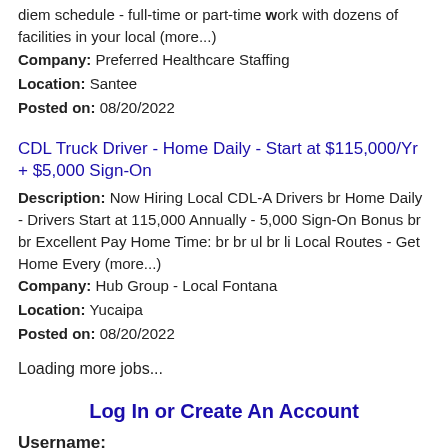diem schedule - full-time or part-time work with dozens of facilities in your local (more...)
Company: Preferred Healthcare Staffing
Location: Santee
Posted on: 08/20/2022
CDL Truck Driver - Home Daily - Start at $115,000/Yr + $5,000 Sign-On
Description: Now Hiring Local CDL-A Drivers br Home Daily - Drivers Start at 115,000 Annually - 5,000 Sign-On Bonus br br Excellent Pay Home Time: br br ul br li Local Routes - Get Home Every (more...)
Company: Hub Group - Local Fontana
Location: Yucaipa
Posted on: 08/20/2022
Loading more jobs...
Log In or Create An Account
Username:
Password: